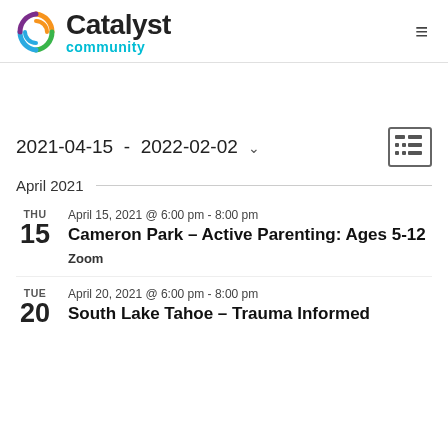Catalyst community
2021-04-15 - 2022-02-02
April 2021
THU 15 | April 15, 2021 @ 6:00 pm - 8:00 pm | Cameron Park – Active Parenting: Ages 5-12 | Zoom
TUE 20 | April 20, 2021 @ 6:00 pm - 8:00 pm | South Lake Tahoe – Trauma Informed